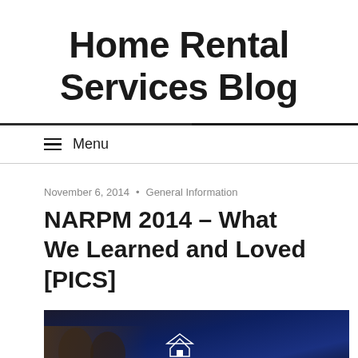Home Rental Services Blog
≡ Menu
November 6, 2014 • General Information
NARPM 2014 – What We Learned and Loved [PICS]
[Figure (photo): Dark photo showing people in front of a NARPM branded display/screen at the 2014 NARPM conference]